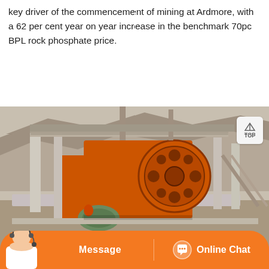key driver of the commencement of mining at Ardmore, with a 62 per cent year on year increase in the benchmark 70pc BPL rock phosphate price.
[Figure (photo): Photograph of an orange jaw crusher / mining processing machine at an open-pit mine site, with rocky hillside in background. Industrial conveyors and steel structures visible.]
Message | Online Chat